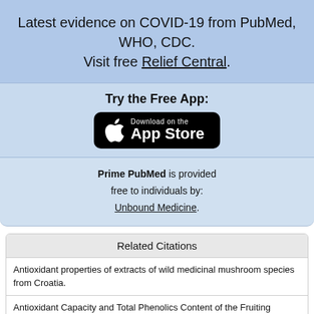Latest evidence on COVID-19 from PubMed, WHO, CDC. Visit free Relief Central.
Try the Free App:
[Figure (screenshot): Download on the App Store button (black rounded rectangle with Apple logo)]
Prime PubMed is provided free to individuals by: Unbound Medicine.
Related Citations
Antioxidant properties of extracts of wild medicinal mushroom species from Croatia.
Antioxidant Capacity and Total Phenolics Content of the Fruiting Bodies and Submerged Cultured Mycelia of Sixteen Higher Basidiomycetes Mushrooms
Antioxidant activity of indigenous edible mushrooms.